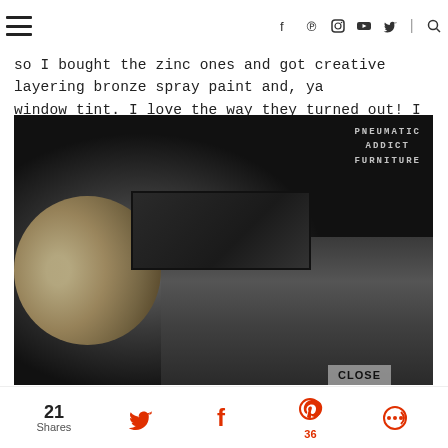hamburger menu | f | Pinterest | Instagram | YouTube | Twitter | Search
so I bought the zinc ones and got creative layering bronze spray paint and, ya window tint. I love the way they turned out! I will be using this technique again.
[Figure (photo): Close-up photo of a dark-painted wooden box corner with a black metal L-bracket hardware piece, rope handle visible on the left, watermark reads PNEUMATIC ADDICT FURNITURE]
21 Shares | Twitter share | Facebook share | Pinterest 36 | Other share